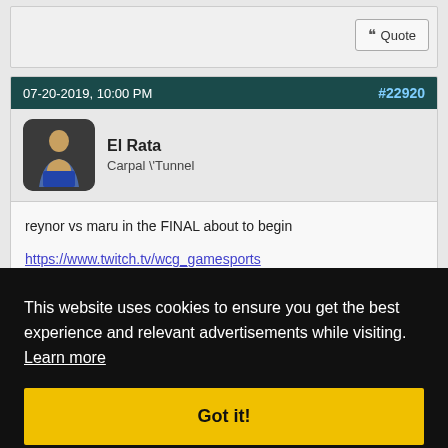Quote
07-20-2019, 10:00 PM
#22920
El Rata
Carpal \'Tunnel
reynor vs maru in the FINAL about to begin
https://www.twitch.tv/wcg_gamesports
#22921
Show
This website uses cookies to ensure you get the best experience and relevant advertisements while visiting.  Learn more
Got it!